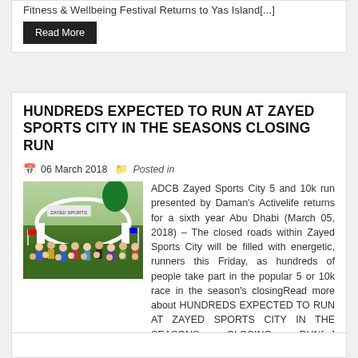Fitness & Wellbeing Festival Returns to Yas Island[...]
Read More
HUNDREDS EXPECTED TO RUN AT ZAYED SPORTS CITY IN THE SEASONS CLOSING RUN
06 March 2018   Posted in
[Figure (photo): Crowd of runners gathered under a large arch/inflatable at the start of a race event at Zayed Sports City]
ADCB Zayed Sports City 5 and 10k run presented by Daman's Activelife returns for a sixth year Abu Dhabi (March 05, 2018) – The closed roads within Zayed Sports City will be filled with energetic, runners this Friday, as hundreds of people take part in the popular 5 or 10k race in the season's closingRead more about HUNDREDS EXPECTED TO RUN AT ZAYED SPORTS CITY IN THE SEASONS CLOSING RUN[...]
Read More